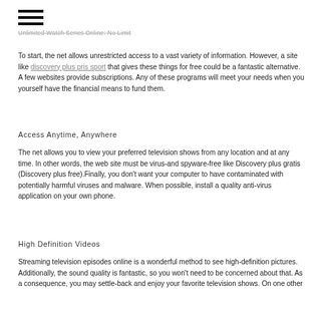Unlimited Watch Series Online: No Limit
To start, the net allows unrestricted access to a vast variety of information. However, a site like discovery plus pris sport that gives these things for free could be a fantastic alternative. A few websites provide subscriptions. Any of these programs will meet your needs when you yourself have the financial means to fund them.
Access Anytime, Anywhere
The net allows you to view your preferred television shows from any location and at any time. In other words, the web site must be virus-and spyware-free like Discovery plus gratis (Discovery plus free).Finally, you don't want your computer to have contaminated with potentially harmful viruses and malware. When possible, install a quality anti-virus application on your own phone.
High Definition Videos
Streaming television episodes online is a wonderful method to see high-definition pictures. Additionally, the sound quality is fantastic, so you won't need to be concerned about that. As a consequence, you may settle-back and enjoy your favorite television shows. On one other